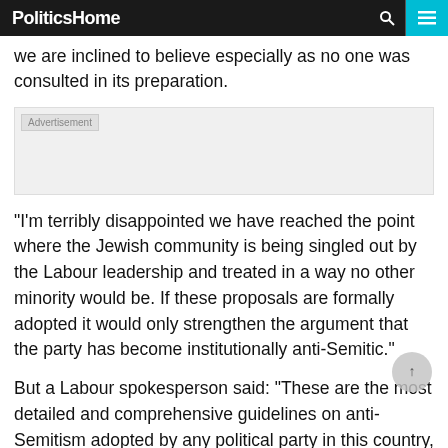PoliticsHome
we are inclined to believe especially as no one was consulted in its preparation.
[Figure (other): Advertisement placeholder box with 'Advertisement' label in top-left corner]
"I'm terribly disappointed we have reached the point where the Jewish community is being singled out by the Labour leadership and treated in a way no other minority would be. If these proposals are formally adopted it would only strengthen the argument that the party has become institutionally anti-Semitic."
But a Labour spokesperson said: "These are the most detailed and comprehensive guidelines on anti-Semitism adopted by any political party in this country,